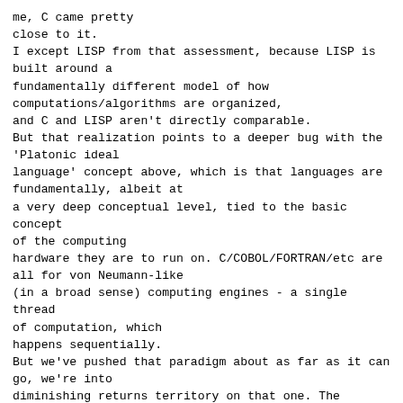me, C came pretty
close to it.
I except LISP from that assessment, because LISP is built around a
fundamentally different model of how
computations/algorithms are organized,
and C and LISP aren't directly comparable.
But that realization points to a deeper bug with the 'Platonic ideal
language' concept above, which is that languages are fundamentally, albeit at
a very deep conceptual level, tied to the basic concept of the computing
hardware they are to run on. C/COBOL/FORTRAN/etc are all for von Neumann-like
(in a broad sense) computing engines - a single thread of computation, which
happens sequentially.
But we've pushed that paradigm about as far as it can go, we're into
diminishing returns territory on that one. The future, starting with the
hardware, will be very different - and will need quite different languages.
(Go, from what little I know of it, is a baby step in this direction - it is
intended to make it easy to use multiple simultaneous